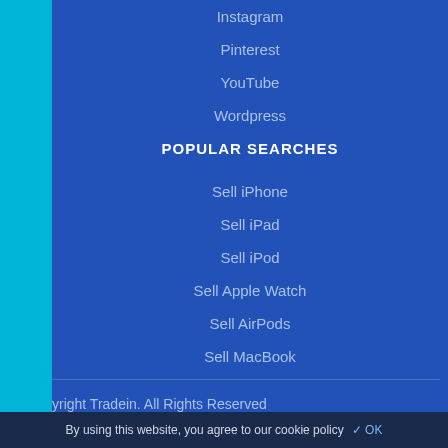Instagram
Pinterest
YouTube
Wordpress
POPULAR SEARCHES
Sell iPhone
Sell iPad
Sell iPod
Sell Apple Watch
Sell AirPods
Sell MacBook
yright Tradein. All Rights Reserved
By using this website, you agree to our cookie policy ✓ OK